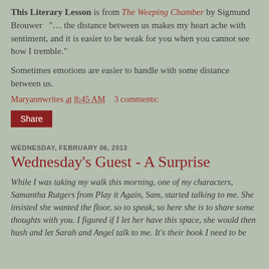This Literary Lesson is from The Weeping Chamber by Sigmund Brouwer  "… the distance between us makes my heart ache with sentiment, and it is easier to be weak for you when you cannot see how I tremble."
Sometimes emotions are easier to handle with some distance between us.
Maryannwrites at 8:45 AM   3 comments:
Share
WEDNESDAY, FEBRUARY 06, 2013
Wednesday's Guest - A Surprise
While I was taking my walk this morning, one of my characters, Samantha Rutgers from Play it Again, Sam, started talking to me. She insisted she wanted the floor, so to speak, so here she is to share some thoughts with you. I figured if I let her have this space, she would then hush and let Sarah and Angel talk to me. It's their book I need to be